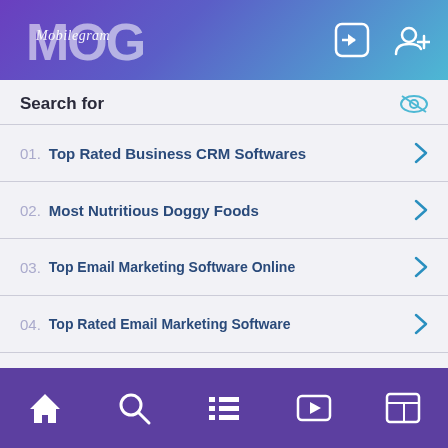MOG / Mobilegram — app header with login and add-user icons
Search for
01.  Top Rated Business CRM Softwares
02.  Most Nutritious Doggy Foods
03.  Top Email Marketing Software Online
04.  Top Rated Email Marketing Software
05.  Employees Engagement Assessment
Yahoo! Search | Sponsored
Bottom navigation bar: Home, Search, List, Video, News